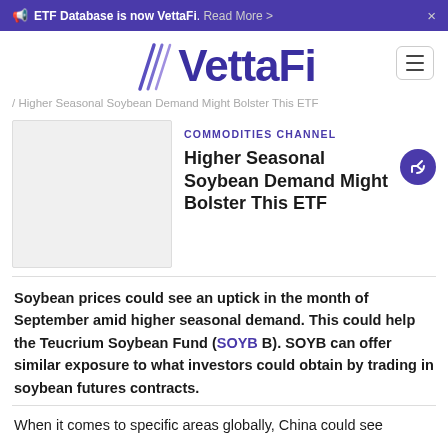ETF Database is now VettaFi. Read More >
[Figure (logo): VettaFi logo with decorative slashes, purple serif-style wordmark]
/ Higher Seasonal Soybean Demand Might Bolster This ETF
[Figure (photo): Article thumbnail image placeholder]
COMMODITIES CHANNEL
Higher Seasonal Soybean Demand Might Bolster This ETF
Soybean prices could see an uptick in the month of September amid higher seasonal demand. This could help the Teucrium Soybean Fund (SOYB B). SOYB can offer similar exposure to what investors could obtain by trading in soybean futures contracts.
When it comes to specific areas globally, China could see